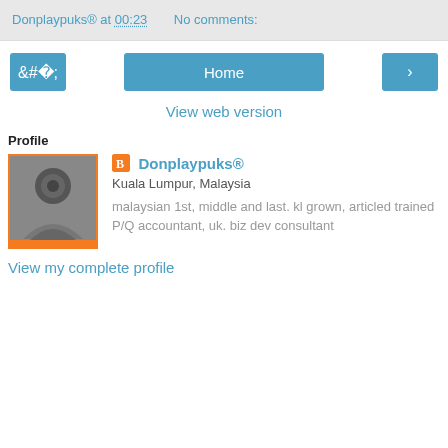Donplaypuks® at 00:23   No comments:
Home
View web version
Profile
[Figure (photo): Profile photo of Donplaypuks — grayscale image of a person with an orange background border]
Donplaypuks®
Kuala Lumpur, Malaysia
malaysian 1st, middle and last. kl grown, articled trained P/Q accountant, uk. biz dev consultant
View my complete profile